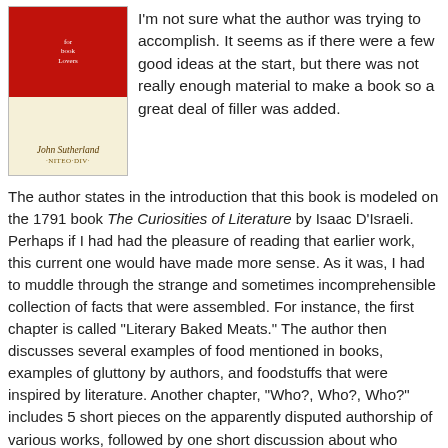[Figure (illustration): Book cover with red top portion showing title text and author name 'John Sutherland' in italic script at bottom on cream background]
I'm not sure what the author was trying to accomplish. It seems as if there were a few good ideas at the start, but there was not really enough material to make a book so a great deal of filler was added.
The author states in the introduction that this book is modeled on the 1791 book The Curiosities of Literature by Isaac D'Israeli. Perhaps if I had had the pleasure of reading that earlier work, this current one would have made more sense. As it was, I had to muddle through the strange and sometimes incomprehensible collection of facts that were assembled. For instance, the first chapter is called "Literary Baked Meats." The author then discusses several examples of food mentioned in books, examples of gluttony by authors, and foodstuffs that were inspired by literature. Another chapter, "Who?, Who?, Who?" includes 5 short pieces on the apparently disputed authorship of various works, followed by one short discussion about who invented the supercomputer. It's all a bit haphazard.
The thing that really "turned me agin" this book was a blatant